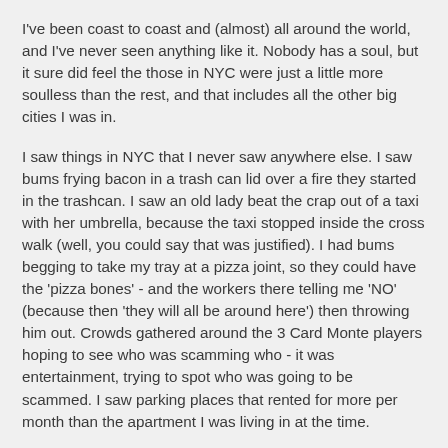I've been coast to coast and (almost) all around the world, and I've never seen anything like it. Nobody has a soul, but it sure did feel the those in NYC were just a little more soulless than the rest, and that includes all the other big cities I was in.
I saw things in NYC that I never saw anywhere else. I saw bums frying bacon in a trash can lid over a fire they started in the trashcan. I saw an old lady beat the crap out of a taxi with her umbrella, because the taxi stopped inside the cross walk (well, you could say that was justified). I had bums begging to take my tray at a pizza joint, so they could have the 'pizza bones' - and the workers there telling me 'NO' (because then 'they will all be around here') then throwing him out. Crowds gathered around the 3 Card Monte players hoping to see who was scamming who - it was entertainment, trying to spot who was going to be scammed. I saw parking places that rented for more per month than the apartment I was living in at the time.